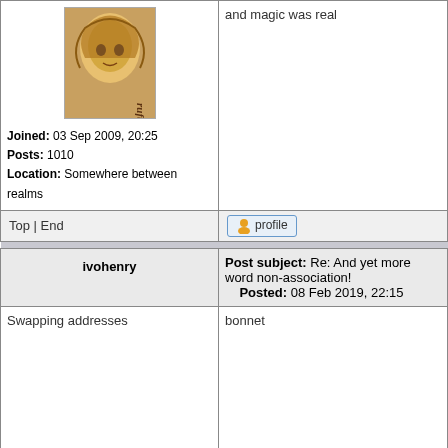[Figure (illustration): Avatar image showing a rufus character illustration]
and magic was real
Joined: 03 Sep 2009, 20:25
Posts: 1010
Location: Somewhere between realms
Top | End
[Figure (other): Profile button with user icon]
Post subject: Re: And yet more word non-association!
Posted: 08 Feb 2019, 22:15
ivohenry
Swapping addresses
bonnet
Joined: 03 Jan 2010, 22:35
Posts: 2556
Location: Berkshire, England
Top | End
[Figure (other): Profile button with user icon]
Post subject: Re: And yet more word non-association!